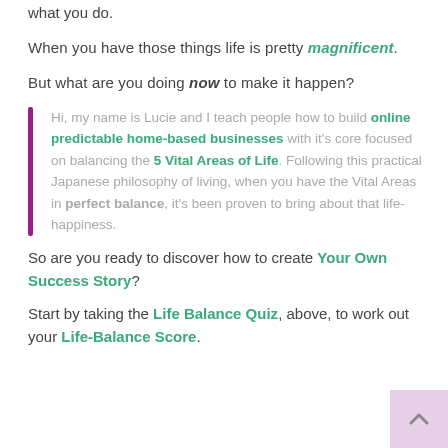what you do.
When you have those things life is pretty magnificent.
But what are you doing now to make it happen?
Hi, my name is Lucie and I teach people how to build online predictable home-based businesses with it’s core focused on balancing the 5 Vital Areas of Life. Following this practical Japanese philosophy of living, when you have the Vital Areas in perfect balance, it’s been proven to bring about that life-happiness.
So are you ready to discover how to create Your Own Success Story?
Start by taking the Life Balance Quiz, above, to work out your Life-Balance Score.